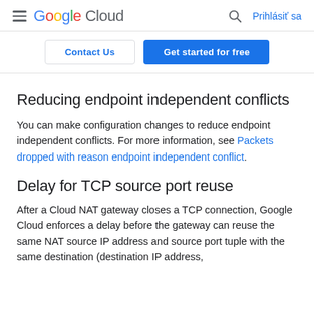Google Cloud — Prihlásiť sa
Contact Us | Get started for free
Reducing endpoint independent conflicts
You can make configuration changes to reduce endpoint independent conflicts. For more information, see Packets dropped with reason endpoint independent conflict.
Delay for TCP source port reuse
After a Cloud NAT gateway closes a TCP connection, Google Cloud enforces a delay before the gateway can reuse the same NAT source IP address and source port tuple with the same destination (destination IP address,